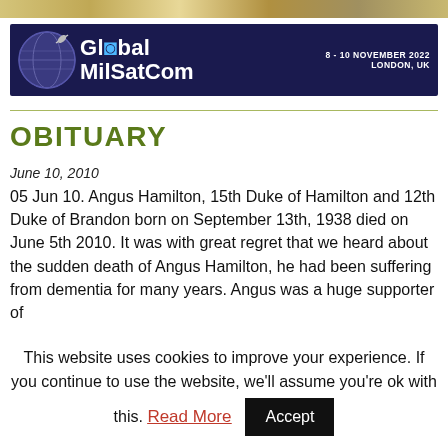[Figure (other): Top decorative banner strip with golden/tan colors]
[Figure (other): Global MilSatCom advertisement banner: dark navy background with globe, text 'Global MilSatCom 8-10 NOVEMBER 2022 LONDON, UK']
OBITUARY
June 10, 2010
05 Jun 10. Angus Hamilton, 15th Duke of Hamilton and 12th Duke of Brandon born on September 13th, 1938 died on June 5th 2010. It was with great regret that we heard about the sudden death of Angus Hamilton, he had been suffering from dementia for many years. Angus was a huge supporter of
This website uses cookies to improve your experience. If you continue to use the website, we'll assume you're ok with this. Read More  Accept